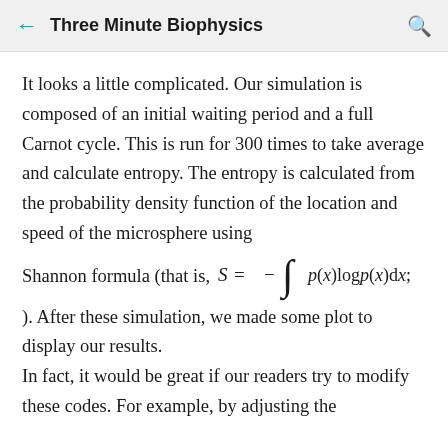← Three Minute Biophysics
It looks a little complicated. Our simulation is composed of an initial waiting period and a full Carnot cycle. This is run for 300 times to take average and calculate entropy. The entropy is calculated from the probability density function of the location and speed of the microsphere using Shannon formula (that is, S = − ∫ p(x)logp(x)dx; ). After these simulation, we made some plot to display our results.
In fact, it would be great if our readers try to modify these codes. For example, by adjusting the